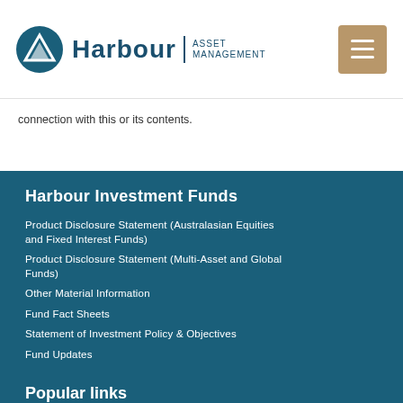[Figure (logo): Harbour Asset Management logo with circular mountain icon and company name]
connection with this or its contents.
Harbour Investment Funds
Product Disclosure Statement (Australasian Equities and Fixed Interest Funds)
Product Disclosure Statement (Multi-Asset and Global Funds)
Other Material Information
Fund Fact Sheets
Statement of Investment Policy & Objectives
Fund Updates
Popular links